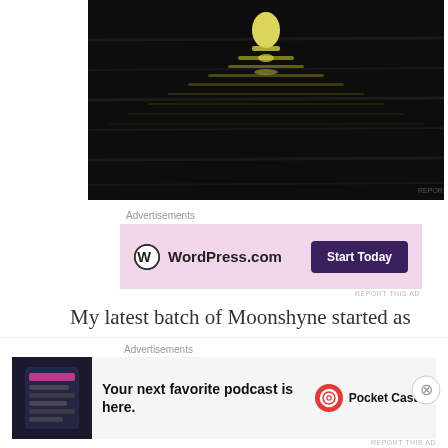[Figure (photo): Dark moody photo of moonlight reflecting on water with yellow-green shimmer on dark rippled surface]
Advertisements
[Figure (other): WordPress.com advertisement banner with pink background showing WordPress logo and 'Start Today' button]
My latest batch of Moonshyne started as Brockmans gin, a spirit well-suited to this early summer time of year as it is very berry-forward, full of juicy blackberry and blueberry notes.  It comes in an opaque black bottle, however, so I needed to transfer it to a clear one in order to receive the moonbeams
Advertisements
[Figure (other): Pocket Casts advertisement: 'Your next favorite podcast is here.' with Pocket Casts logo and app screenshot]